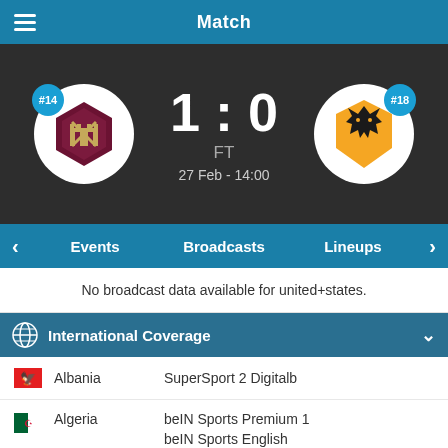Match
1 : 0
FT
27 Feb - 14:00
Events  Broadcasts  Lineups
No broadcast data available for united+states.
International Coverage
| Country | Broadcast |
| --- | --- |
| Albania | SuperSport 2 Digitalb |
| Algeria | beIN Sports Premium 1
beIN Sports English
beIN SPORTS CONNECT |
| Andorra | RMC Sport 1 |
| Angola | SuperSport MaXimo 1 |